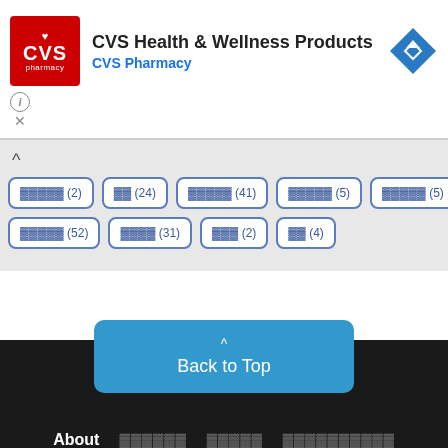[Figure (logo): CVS Pharmacy advertisement banner with red CVS logo, title 'CVS Health & Wellness Products' and subtitle 'CVS Pharmacy' with blue navigation diamond icon]
[Figure (screenshot): Filter chip buttons with Japanese text and counts: (2), (24), (41), (5), (5), (52), (31), (2), (4)]
Back to Top
About
© Copyright 2022 pystyle.